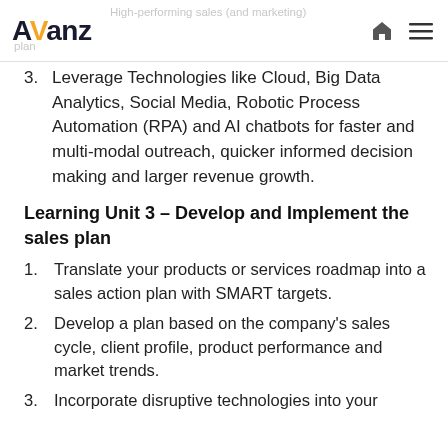Avanz — High-performing sales (and marketing) plan
3. Leverage Technologies like Cloud, Big Data Analytics, Social Media, Robotic Process Automation (RPA) and AI chatbots for faster and multi-modal outreach, quicker informed decision making and larger revenue growth.
Learning Unit 3 – Develop and Implement the sales plan
1. Translate your products or services roadmap into a sales action plan with SMART targets.
2. Develop a plan based on the company's sales cycle, client profile, product performance and market trends.
3. Incorporate disruptive technologies into your